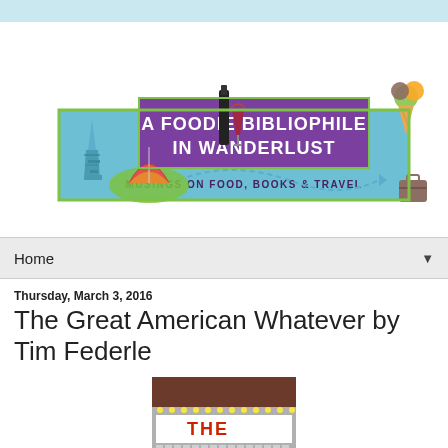[Figure (logo): A Foodie Bibliophile in Wanderlust blog logo. Purple and teal banner with text 'A FOODIE BIBLIOPHILE IN WANDERLUST' and subtitle 'MUSINGS ON FOOD, BOOKS & TRAVEL'. Decorated with Eiffel Tower, open book, wine bottle and glass, cheese, ice cream cone, travel bag, and dashed arrow path.]
Home ▼
Thursday, March 3, 2016
The Great American Whatever by Tim Federle
[Figure (photo): Book cover or marquee sign showing 'THE GREAT...' text on a theater-style marquee with lights.]